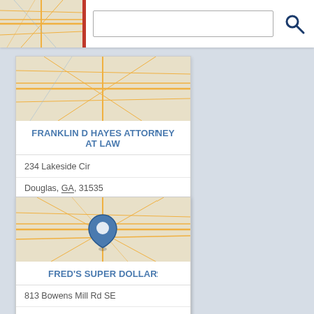[Figure (screenshot): Search bar with map thumbnail, red divider, text input field, and search icon]
[Figure (map): Street map thumbnail for Franklin D Hayes Attorney At Law location]
FRANKLIN D HAYES ATTORNEY AT LAW
234 Lakeside Cir
Douglas, GA, 31535
9123846559
Attorneys
Bankruptcy Law Attorneys
Criminal Law Attorneys
Family Law Attorneys
Lawyers
[Figure (map): Street map thumbnail for Fred's Super Dollar with blue location pin marker]
FRED'S SUPER DOLLAR
813 Bowens Mill Rd SE
Douglas, GA, 31533
9123837243